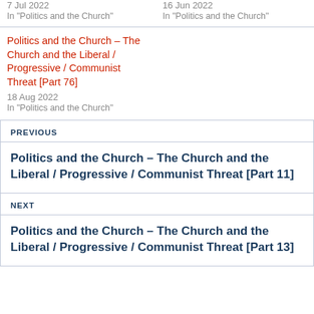7 Jul 2022
In "Politics and the Church"
16 Jun 2022
In "Politics and the Church"
Politics and the Church – The Church and the Liberal / Progressive / Communist Threat [Part 76]
18 Aug 2022
In "Politics and the Church"
PREVIOUS
Politics and the Church – The Church and the Liberal / Progressive / Communist Threat [Part 11]
NEXT
Politics and the Church – The Church and the Liberal / Progressive / Communist Threat [Part 13]